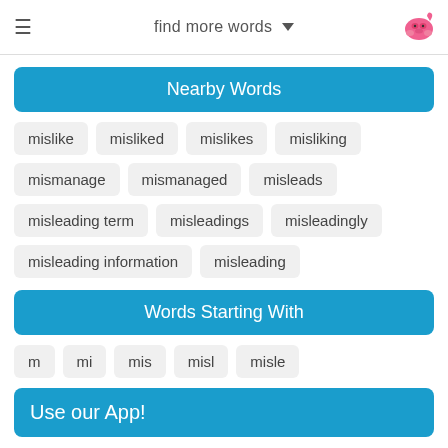find more words
Nearby Words
mislike
misliked
mislikes
misliking
mismanage
mismanaged
misleads
misleading term
misleadings
misleadingly
misleading information
misleading
Words Starting With
m
mi
mis
misl
misle
Use our App!